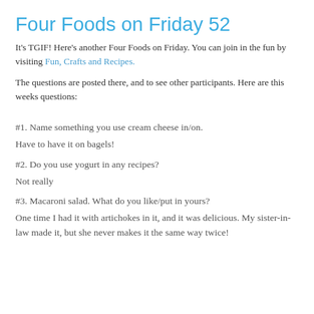Four Foods on Friday 52
It's TGIF! Here's another Four Foods on Friday. You can join in the fun by visiting Fun, Crafts and Recipes.
The questions are posted there, and to see other participants. Here are this weeks questions:
#1. Name something you use cream cheese in/on.
Have to have it on bagels!
#2. Do you use yogurt in any recipes?
Not really
#3. Macaroni salad. What do you like/put in yours?
One time I had it with artichokes in it, and it was delicious. My sister-in-law made it, but she never makes it the same way twice!